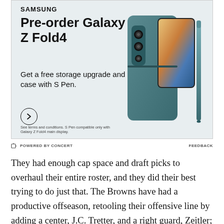[Figure (infographic): Samsung advertisement for Galaxy Z Fold4 pre-order. Text reads: SAMSUNG, Pre-order Galaxy Z Fold4, Get a free storage upgrade and case with S Pen. Shows an image of the folding phone with case and S Pen stylus. Has an arrow button and fine print: See terms and conditions. S Pen compatible only with Galaxy Z Fold4 main display.]
⊆ POWERED BY CONCERT    FEEDBACK
They had enough cap space and draft picks to overhaul their entire roster, and they did their best trying to do just that. The Browns have had a productive offseason, retooling their offensive line by adding a center, J.C. Tretter, and a right guard, Zeitler;